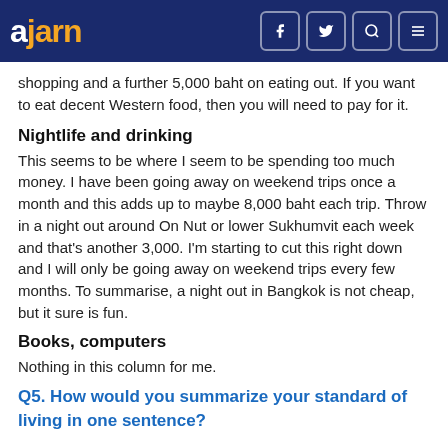ajarn — navigation header with logo and social icons
shopping and a further 5,000 baht on eating out. If you want to eat decent Western food, then you will need to pay for it.
Nightlife and drinking
This seems to be where I seem to be spending too much money. I have been going away on weekend trips once a month and this adds up to maybe 8,000 baht each trip. Throw in a night out around On Nut or lower Sukhumvit each week and that's another 3,000. I'm starting to cut this right down and I will only be going away on weekend trips every few months. To summarise, a night out in Bangkok is not cheap, but it sure is fun.
Books, computers
Nothing in this column for me.
Q5. How would you summarize your standard of living in one sentence?